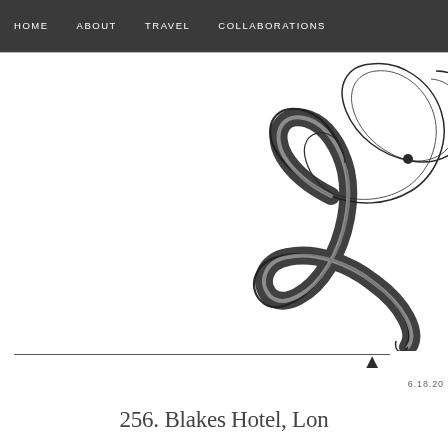HOME   ABOUT   TRAVEL   COLLABORATIONS
[Figure (illustration): Large decorative cursive/calligraphic letter 'L' or script logo, black ink on white, partially cropped at right edge]
▲
6.18.20
256. Blakes Hotel, Lon